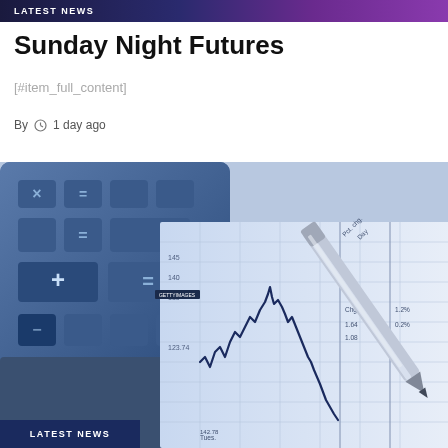LATEST NEWS
Sunday Night Futures
[#item_full_content]
By  1 day ago
[Figure (photo): Close-up photo of a calculator, a silver pen, and financial chart paper with handwritten line graph showing stock price movements. Numbers visible include 145, 140, 135, 123.74, 142.78, Chg. 1.64, 1.08, Pct. chg. Day 1.2%, 0.2%]
LATEST NEWS